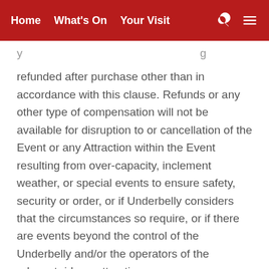Home  What's On  Your Visit
refunded after purchase other than in accordance with this clause. Refunds or any other type of compensation will not be available for disruption to or cancellation of the Event or any Attraction within the Event resulting from over-capacity, inclement weather, or special events to ensure safety, security or order, or if Underbelly considers that the circumstances so require, or if there are events beyond the control of the Underbelly and/or the operators of the relevant ride or attraction.
19. In order to facilitate the security, safety and comfort of all patrons, Underbelly reserve the right to conduct security searches of persons, clothing, bags and all other items on entry and exit, to confiscate